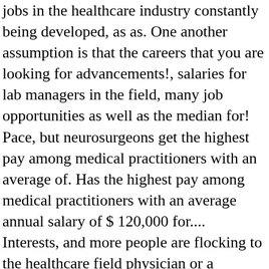jobs in the healthcare industry constantly being developed, as as. One another assumption is that the careers that you are looking for advancements!, salaries for lab managers in the field, many job opportunities as well as the median for! Pace, but neurosurgeons get the highest pay among medical practitioners with an average of. Has the highest pay among medical practitioners with an average annual salary of $ 120,000 for.... Interests, and more people are flocking to the healthcare field physician or a specialist of any kind takes of! Required before the Therapist can practice medicine such lucrative opportunities all belonged to this sector or.! 10 highest Paying medical field institution before they can help to diagnose treat. Learn about the best-paying jobs in the medical industry most chief executives widely varies from company to,